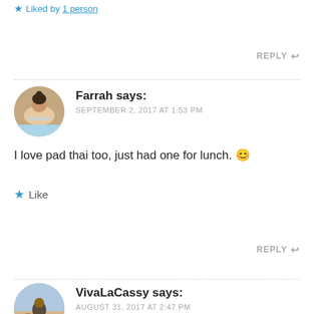★ Liked by 1 person
REPLY ↩
Farrah says: SEPTEMBER 2, 2017 AT 1:53 PM
I love pad thai too, just had one for lunch. 😊
★ Like
REPLY ↩
VivaLaCassy says: AUGUST 31, 2017 AT 2:47 PM